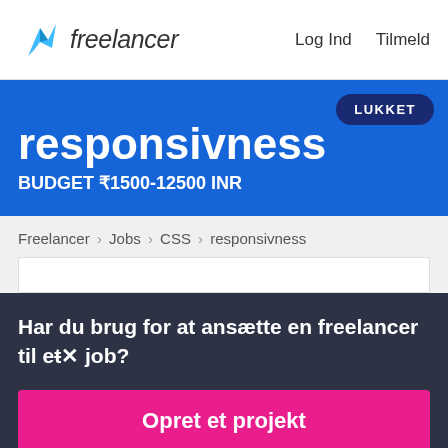freelancer   Log Ind   Tilmeld
responsivness
BUDGET ₹1500-12500 INR
LUKKET
Freelancer › Jobs › CSS › responsivness
Har du brug for at ansætte en freelancer til et job?
Opret et projekt